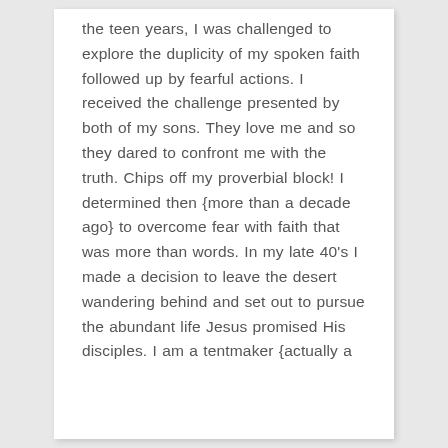the teen years, I was challenged to explore the duplicity of my spoken faith followed up by fearful actions. I received the challenge presented by both of my sons. They love me and so they dared to confront me with the truth. Chips off my proverbial block! I determined then {more than a decade ago} to overcome fear with faith that was more than words. In my late 40's I made a decision to leave the desert wandering behind and set out to pursue the abundant life Jesus promised His disciples. I am a tentmaker {actually a